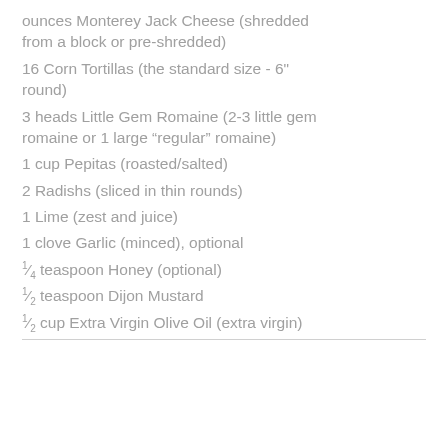ounces Monterey Jack Cheese (shredded from a block or pre-shredded)
16 Corn Tortillas (the standard size - 6" round)
3 heads Little Gem Romaine (2-3 little gem romaine or 1 large “regular” romaine)
1 cup Pepitas (roasted/salted)
2 Radishs (sliced in thin rounds)
1 Lime (zest and juice)
1 clove Garlic (minced), optional
1/4 teaspoon Honey (optional)
1/2 teaspoon Dijon Mustard
1/2 cup Extra Virgin Olive Oil (extra virgin)